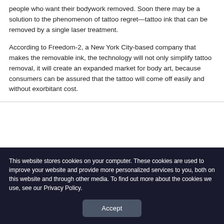people who want their bodywork removed. Soon there may be a solution to the phenomenon of tattoo regret—tattoo ink that can be removed by a single laser treatment.
According to Freedom-2, a New York City-based company that makes the removable ink, the technology will not only simplify tattoo removal, it will create an expanded market for body art, because consumers can be assured that the tattoo will come off easily and without exorbitant cost.
This website stores cookies on your computer. These cookies are used to improve your website and provide more personalized services to you, both on this website and through other media. To find out more about the cookies we use, see our Privacy Policy.
Accept